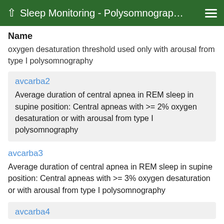Sleep Monitoring - Polysomnograp…
Name
oxygen desaturation threshold used only with arousal from type I polysomnography
avcarba2
Average duration of central apnea in REM sleep in supine position: Central apneas with >= 2% oxygen desaturation or with arousal from type I polysomnography
avcarba3
Average duration of central apnea in REM sleep in supine position: Central apneas with >= 3% oxygen desaturation or with arousal from type I polysomnography
avcarba4